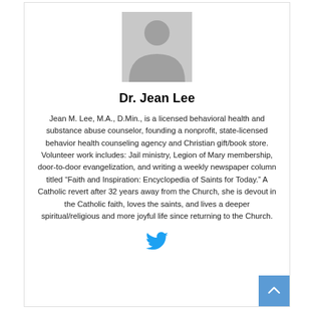[Figure (illustration): Generic grey person/avatar silhouette placeholder image]
Dr. Jean Lee
Jean M. Lee, M.A., D.Min., is a licensed behavioral health and substance abuse counselor, founding a nonprofit, state-licensed behavior health counseling agency and Christian gift/book store. Volunteer work includes: Jail ministry, Legion of Mary membership, door-to-door evangelization, and writing a weekly newspaper column titled “Faith and Inspiration: Encyclopedia of Saints for Today.” A Catholic revert after 32 years away from the Church, she is devout in the Catholic faith, loves the saints, and lives a deeper spiritual/religious and more joyful life since returning to the Church.
[Figure (logo): Twitter bird icon]